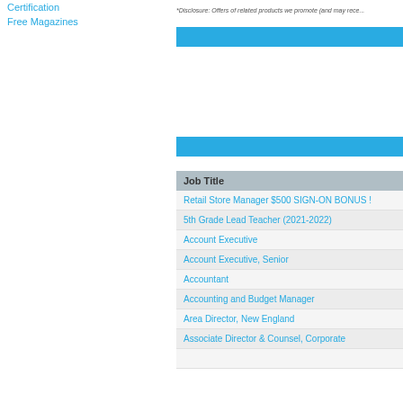Certification
Free Magazines
*Disclosure: Offers of related products we promote (and may rece...
| Job Title |
| --- |
| Retail Store Manager $500 SIGN-ON BONUS ! |
| 5th Grade Lead Teacher (2021-2022) |
| Account Executive |
| Account Executive, Senior |
| Accountant |
| Accounting and Budget Manager |
| Area Director, New England |
| Associate Director & Counsel, Corporate |
|  |